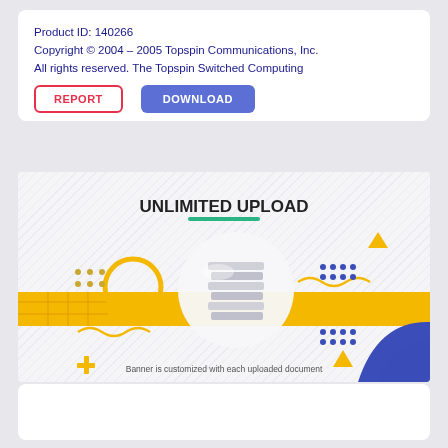Product ID: 140266
Copyright © 2004 – 2005 Topspin Communications, Inc.
All rights reserved. The Topspin Switched Computing
REPORT
DOWNLOAD
[Figure (illustration): Promotional banner with 'UNLIMITED UPLOAD' text, decorative geometric shapes in yellow/gold and blue, a central circular element with stacked documents/papers, and text at bottom reading 'Banner is customized with each uploaded document']